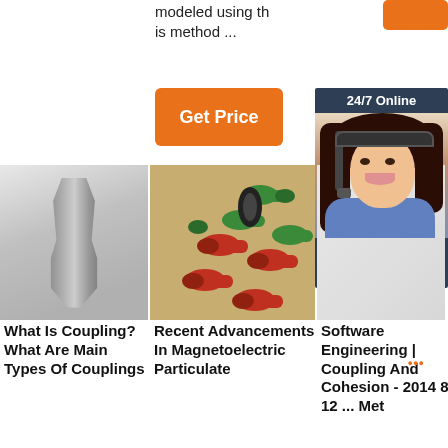modeled using th is method ...
[Figure (other): Orange 'Get Price' button]
[Figure (other): Orange button top right]
[Figure (photo): Photo of a metal coupling/excavator tooth, grey metallic]
[Figure (photo): Photo of multicolored magnetic particulate connectors (red, green, black)]
[Figure (photo): Partial photo of a document or schematic]
[Figure (other): 24/7 Online chat widget with agent photo and QUOTATION button]
What Is Coupling? What Are Main Types Of Couplings
Recent Advancements In Magnetoelectric Particulate
Software Engineering | Coupling And Cohesion - 2014 8 12 ... Met